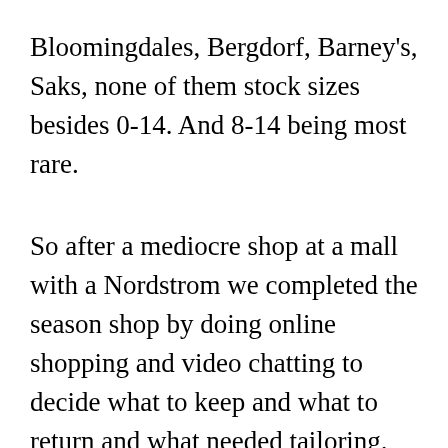Bloomingdales, Bergdorf, Barney's, Saks, none of them stock sizes besides 0-14. And 8-14 being most rare.
So after a mediocre shop at a mall with a Nordstrom we completed the season shop by doing online shopping and video chatting to decide what to keep and what to return and what needed tailoring.
The online shop enabled her to fully get prepared for the Fall/Winter season in